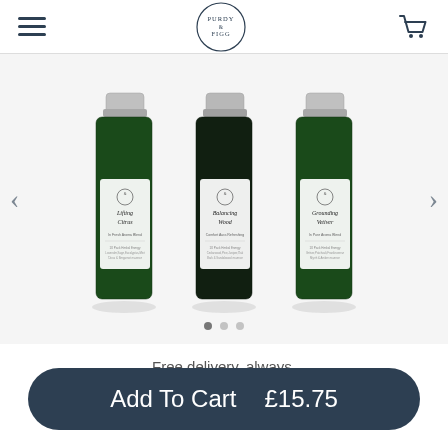Purdy & Figg — navigation header with hamburger menu and cart icon
[Figure (photo): Three green glass bottles with silver caps and white labels showing 'Lifting Citrus', 'Balancing Wood', and 'Grounding Vetiver' essential oil blends, arranged side by side on a light grey background]
Free delivery, always.
Add To Cart  £15.75